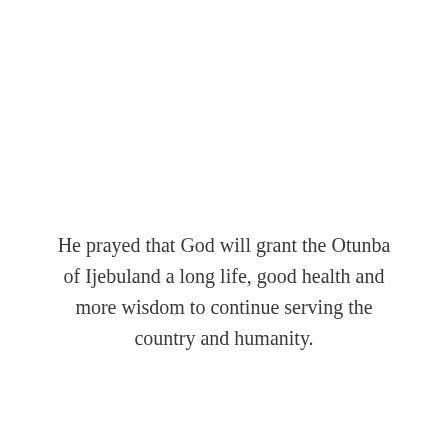He prayed that God will grant the Otunba of Ijebuland a long life, good health and more wisdom to continue serving the country and humanity.